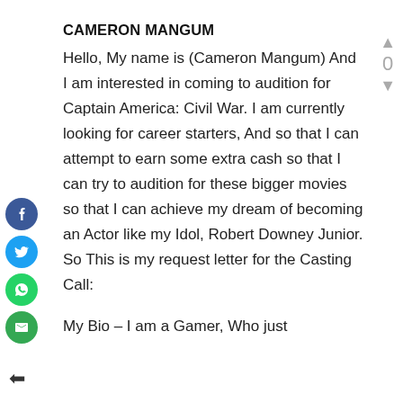CAMERON MANGUM
Hello, My name is (Cameron Mangum) And I am interested in coming to audition for Captain America: Civil War. I am currently looking for career starters, And so that I can attempt to earn some extra cash so that I can try to audition for these bigger movies so that I can achieve my dream of becoming an Actor like my Idol, Robert Downey Junior. So This is my request letter for the Casting Call:
My Bio – I am a Gamer, Who just